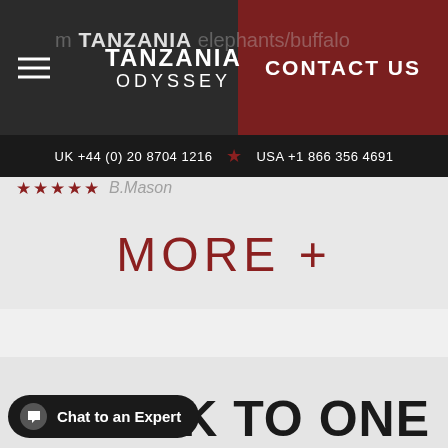TANZANIA ODYSSEY
elephants/buffalo
CONTACT US
UK +44 (0) 20 8704 1216  USA +1 866 356 4691
★★★★★ B.Mason
MORE +
K TO ONE
Chat to an Expert